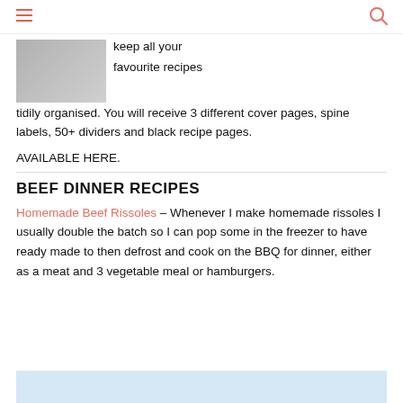Navigation menu and search icon
[Figure (photo): Partial photo of a recipe book or binder, cropped at top]
keep all your favourite recipes tidily organised. You will receive 3 different cover pages, spine labels, 50+ dividers and black recipe pages.
AVAILABLE HERE.
BEEF DINNER RECIPES
Homemade Beef Rissoles – Whenever I make homemade rissoles I usually double the batch so I can pop some in the freezer to have ready made to then defrost and cook on the BBQ for dinner, either as a meat and 3 vegetable meal or hamburgers.
[Figure (photo): Bottom portion of a food photo, light blue/gray background, partially visible at bottom of page]